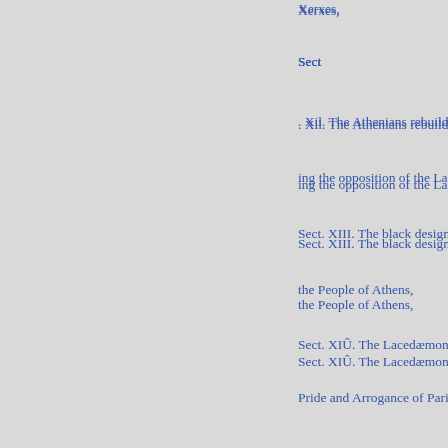Xerxes,
Sect
. Xil. The Athenians rebuild the W
ing the opposition of the Lacedæ
Sect. XIII. The black design of T
the People of Athens,
Sect. XIÛ. The Lacedæmonians
Pride and Arrogance of Parisania
Sect. XV. The Secret Conspiracy
Death,
Sect. XVI. Themistocles flies for
-XVII. Disinterested Administrat
Aristides. His Death and Eulogiu
Sect. XVIII. Xerxes killed by Ar
57
59
63